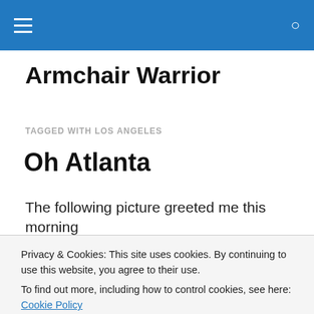Armchair Warrior — site header navigation bar
Armchair Warrior
TAGGED WITH LOS ANGELES
Oh Atlanta
The following picture greeted me this morning
Privacy & Cookies: This site uses cookies. By continuing to use this website, you agree to their use. To find out more, including how to control cookies, see here: Cookie Policy